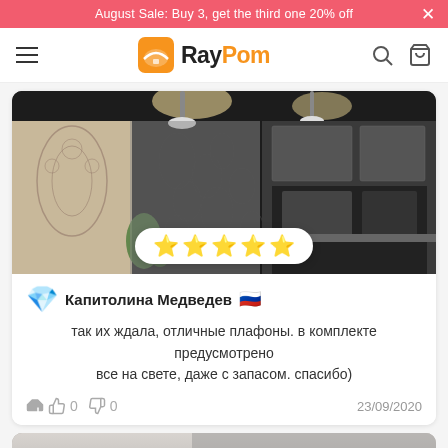August Sale: Buy 3, get the third one 20% off
[Figure (logo): RayPom logo with hamburger menu, search and cart icons]
[Figure (photo): Dark kitchen interior with pendant lights, patterned curtain]
★★★★★
Капитолина Медведев 🇷🇺
так их ждала, отличные плафоны. в комплекте предусмотрено все на свете, даже с запасом. спасибо)
👍 0  👎 0    23/09/2020
[Figure (photo): Partial preview of next review photo, grey toned interior, showing badge '3 📷']